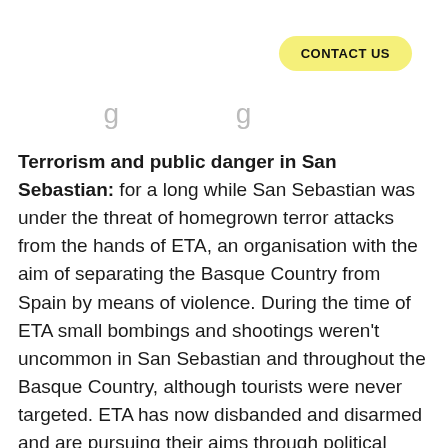CONTACT US
Terrorism and public danger in San Sebastian: for a long while San Sebastian was under the threat of homegrown terror attacks from the hands of ETA, an organisation with the aim of separating the Basque Country from Spain by means of violence. During the time of ETA small bombings and shootings weren't uncommon in San Sebastian and throughout the Basque Country, although tourists were never targeted. ETA has now disbanded and disarmed and are pursuing their aims through political means. There are regular protests in San Sebastian relating to the Basque struggle, and more recently against tourism in the city, but these very rarely, if ever, turn violent and never towards anybody but the police charged with opposing them. This is an overwhelmingly